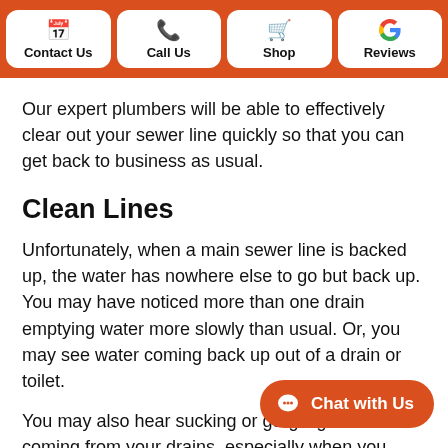Contact Us | Call Us | Shop | Reviews
Our expert plumbers will be able to effectively clear out your sewer line quickly so that you can get back to business as usual.
Clean Lines
Unfortunately, when a main sewer line is backed up, the water has nowhere else to go but back up. You may have noticed more than one drain emptying water more slowly than usual. Or, you may see water coming back up out of a drain or toilet.
You may also hear sucking or gurgling sounds coming from your drains, especially when you